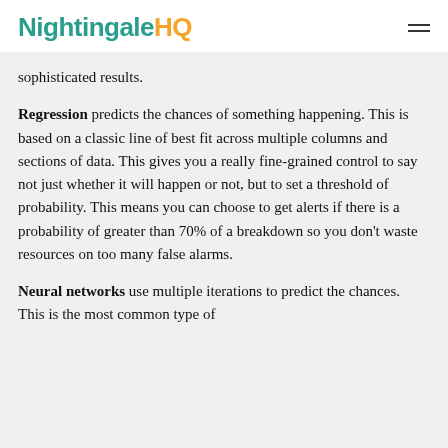NightingaleHQ
sophisticated results.
Regression predicts the chances of something happening. This is based on a classic line of best fit across multiple columns and sections of data. This gives you a really fine-grained control to say not just whether it will happen or not, but to set a threshold of probability. This means you can choose to get alerts if there is a probability of greater than 70% of a breakdown so you don’t waste resources on too many false alarms.
Neural networks use multiple iterations to predict the chances. This is the most common type of